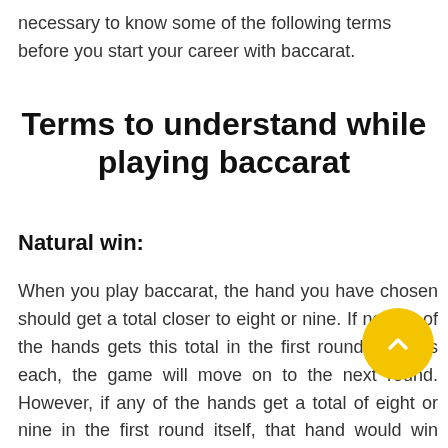necessary to know some of the following terms before you start your career with baccarat.
Terms to understand while playing baccarat
Natural win:
When you play baccarat, the hand you have chosen should get a total closer to eight or nine. If neither of the hands gets this total in the first round of cards each, the game will move on to the next round. However, if any of the hands get a total of eight or nine in the first round itself, that hand would win there itself